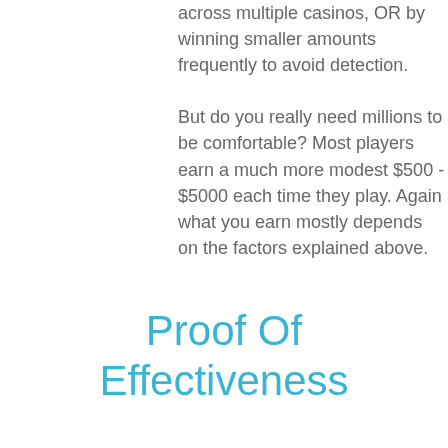across multiple casinos, OR by winning smaller amounts frequently to avoid detection.

But do you really need millions to be comfortable? Most players earn a much more modest $500 - $5000 each time they play. Again what you earn mostly depends on the factors explained above.
Proof Of Effectiveness